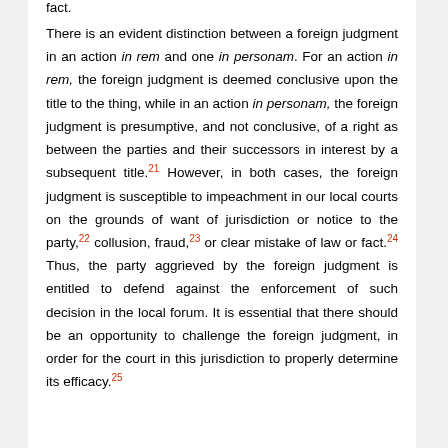fact. There is an evident distinction between a foreign judgment in an action in rem and one in personam. For an action in rem, the foreign judgment is deemed conclusive upon the title to the thing, while in an action in personam, the foreign judgment is presumptive, and not conclusive, of a right as between the parties and their successors in interest by a subsequent title.21 However, in both cases, the foreign judgment is susceptible to impeachment in our local courts on the grounds of want of jurisdiction or notice to the party,22 collusion, fraud,23 or clear mistake of law or fact.24 Thus, the party aggrieved by the foreign judgment is entitled to defend against the enforcement of such decision in the local forum. It is essential that there should be an opportunity to challenge the foreign judgment, in order for the court in this jurisdiction to properly determine its efficacy.25